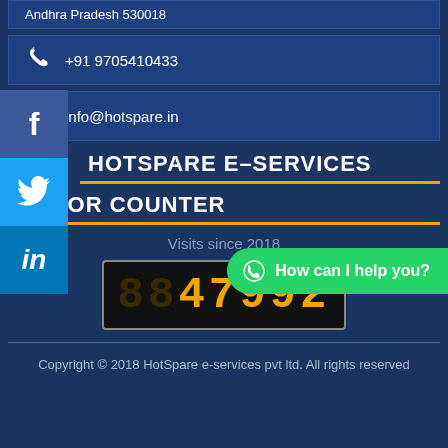Andhra Pradesh 530018
+91 9705410433
info@hotspare.in
[Figure (logo): Facebook social icon button (blue)]
[Figure (logo): Twitter social icon button (light blue)]
[Figure (logo): LinkedIn social icon button (blue)]
HOTSPARE E-SERVICES
How can I help you?
VISITOR COUNTER
Visits since 2018
47992
Copyright © 2018 HotSpare e-services pvt ltd. All rights reserved